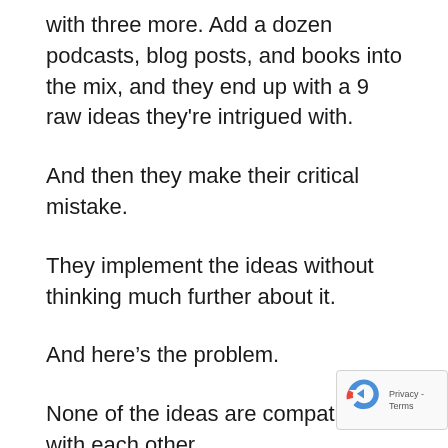with three more. Add a dozen podcasts, blog posts, and books into the mix, and they end up with a 9 raw ideas they're intrigued with.
And then they make their critical mistake.
They implement the ideas without thinking much further about it.
And here's the problem.
None of the ideas are compatible with each other.
Some of them directly compete with each other.
No idea is fully integrated into their existing model of ministry (which might actually be scrambled eggs to s...with).